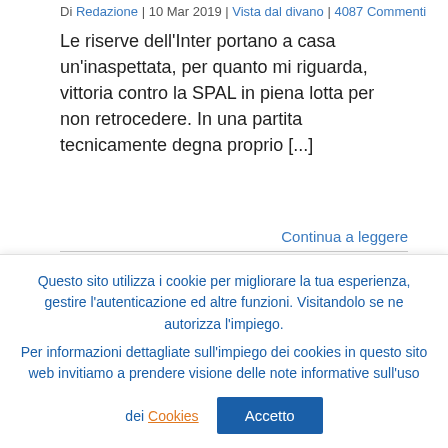Di Redazione | 10 Mar 2019 | Vista dal divano | 4087 Commenti
Le riserve dell'Inter portano a casa un'inaspettata, per quanto mi riguarda, vittoria contro la SPAL in piena lotta per non retrocedere. In una partita tecnicamente degna proprio [...]
Continua a leggere
[Figure (other): Blue rectangle with '08' text, partial date block]
Questo sito utilizza i cookie per migliorare la tua esperienza, gestire l'autenticazione ed altre funzioni. Visitandolo se ne autorizza l'impiego. Per informazioni dettagliate sull'impiego dei cookies in questo sito web invitiamo a prendere visione delle note informative sull'uso dei Cookies
Accetto